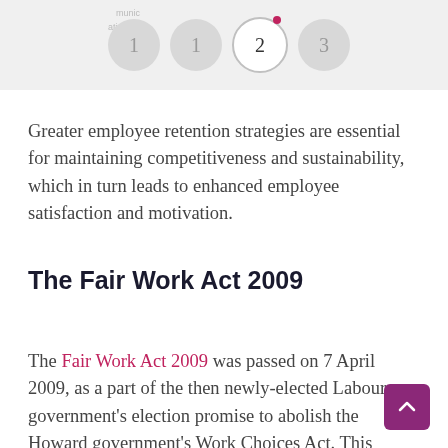munic ation 1 1 2 3
Greater employee retention strategies are essential for maintaining competitiveness and sustainability, which in turn leads to enhanced employee satisfaction and motivation.
The Fair Work Act 2009
The Fair Work Act 2009 was passed on 7 April 2009, as a part of the then newly-elected Labour government's election promise to abolish the Howard government's Work Choices Act. This is the main legislation that governs the employee/employer relationship in